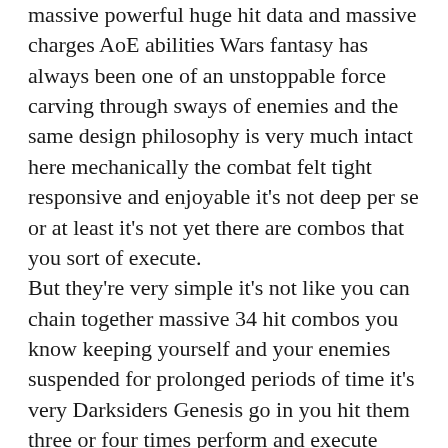massive powerful huge hit data and massive charges AoE abilities Wars fantasy has always been one of an unstoppable force carving through sways of enemies and the same design philosophy is very much intact here mechanically the combat felt tight responsive and enjoyable it's not deep per se or at least it's not yet there are combos that you sort of execute. But they're very simple it's not like you can chain together massive 34 hit combos you know keeping yourself and your enemies suspended for prolonged periods of time it's very Darksiders Genesis go in you hit them three or four times perform and execute with the B button and then move on to the next the developers have promised that combat will evolve somewhat but this looks like it will be more limited.For example strife will get new ammo types and war will get enhancements whatever that means it's unclear if new combo options will open up or more come through the enemy count watch this